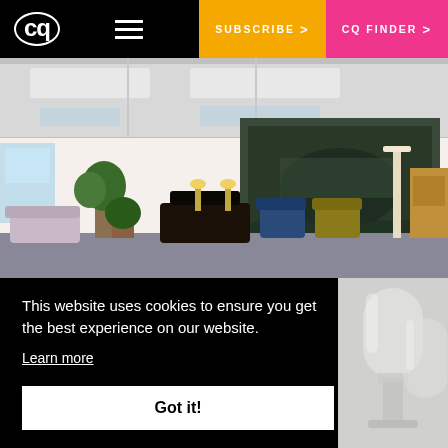CQ | SUBSCRIBE > | CQ FINDER >
[Figure (photo): Interior lobby photo of a modern hotel or conference center with sofas, chairs, plants, and a large landscape mural on the wall]
This website uses cookies to ensure you get the best experience on our website.
Learn more
Got it!
[Figure (photo): Close-up photo of glass stemware, partially visible on the right side]